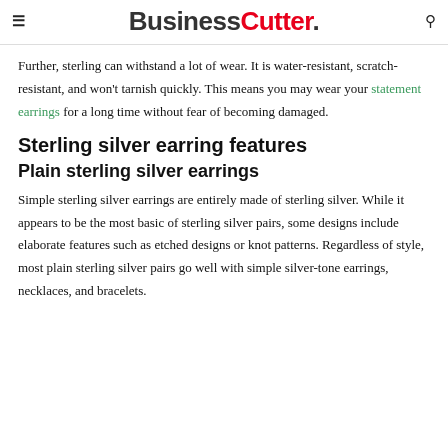BusinessCutter.
Further, sterling can withstand a lot of wear. It is water-resistant, scratch-resistant, and won't tarnish quickly. This means you may wear your statement earrings for a long time without fear of becoming damaged.
Sterling silver earring features
Plain sterling silver earrings
Simple sterling silver earrings are entirely made of sterling silver. While it appears to be the most basic of sterling silver pairs, some designs include elaborate features such as etched designs or knot patterns. Regardless of style, most plain sterling silver pairs go well with simple silver-tone earrings, necklaces, and bracelets.